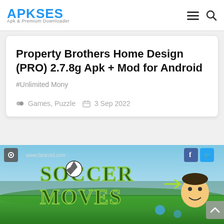APKSES Apk Downloader
Property Brothers Home Design (PRO) 2.7.8g Apk + Mod for Android
#Unlimited Mony
Games, Puzzle   3 Sep 2022
[Figure (screenshot): Soccer Moves game screenshot showing cartoon character and soccer ball with www.farsroid.com watermark]